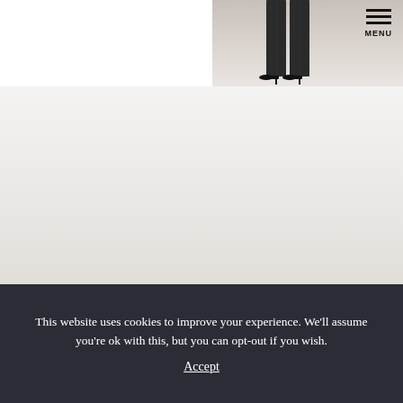[Figure (photo): Partial photo of a person's legs wearing dark trousers and high heels, on a light background. Upper right area of the page.]
MENU
This website uses cookies to improve your experience. We'll assume you're ok with this, but you can opt-out if you wish. Accept